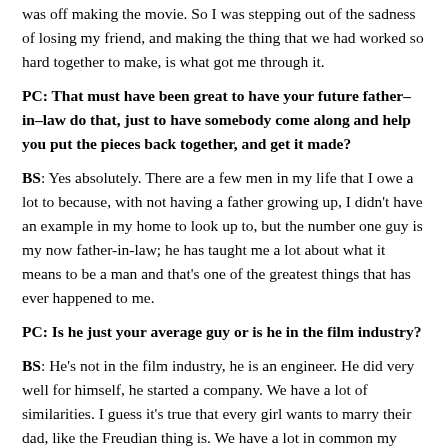was off making the movie. So I was stepping out of the sadness of losing my friend, and making the thing that we had worked so hard together to make, is what got me through it.
PC: That must have been great to have your future father–in–law do that, just to have somebody come along and help you put the pieces back together, and get it made?
BS: Yes absolutely. There are a few men in my life that I owe a lot to because, with not having a father growing up, I didn't have an example in my home to look up to, but the number one guy is my now father-in-law; he has taught me a lot about what it means to be a man and that's one of the greatest things that has ever happened to me.
PC: Is he just your average guy or is he in the film industry?
BS: He's not in the film industry, he is an engineer. He did very well for himself, he started a company. We have a lot of similarities. I guess it's true that every girl wants to marry their dad, like the Freudian thing is. We have a lot in common my father-in-law and I: he is from the Bronx in New York and he knew from a very early age what he wanted to be, and he wanted to be an engineer. He went to Cornell, he got into the best school he could get into, and